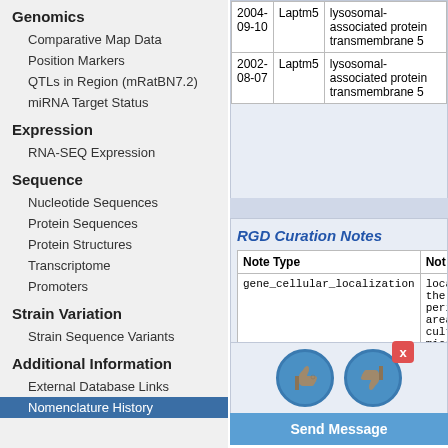Genomics
Comparative Map Data
Position Markers
QTLs in Region (mRatBN7.2)
miRNA Target Status
Expression
RNA-SEQ Expression
Sequence
Nucleotide Sequences
Protein Sequences
Protein Structures
Transcriptome
Promoters
Strain Variation
Strain Sequence Variants
Additional Information
External Database Links
Nomenclature History
| Date | Symbol | Name |
| --- | --- | --- |
| 2004-09-10 | Laptm5 | lysosomal-associated protein transmembrane 5 |
| 2002-08-07 | Laptm5 | lysosomal-associated protein transmembrane 5 |
RGD Curation Notes
| Note Type | Note |
| --- | --- |
| gene_cellular_localization | locali... the perin area cultu... micro... |
[Figure (other): Thumbs up and thumbs down feedback buttons with a red X close button and a Send Message button below]